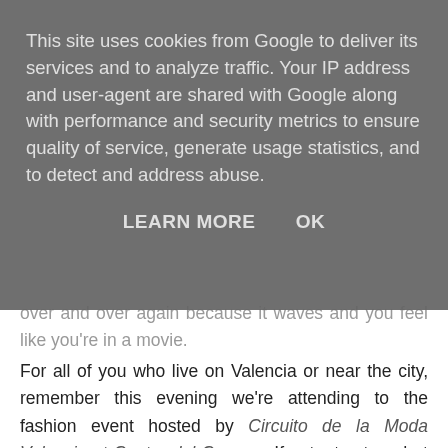This site uses cookies from Google to deliver its services and to analyze traffic. Your IP address and user-agent are shared with Google along with performance and security metrics to ensure quality of service, generate usage statistics, and to detect and address abuse.
LEARN MORE   OK
over and over again because it waves and you feel like you're in a movie.
For all of you who live on Valencia or near the city, remember this evening we're attending to the fashion event hosted by Circuito de la Moda Valencia at Centro del Carmen. If not, stay tuned at our Facebook and Google+ accounts to follow the event live (or as live as possible as I will be writing and posting things like a crazy thing!). We'll be meeting some emerging designers' collections and enjoy the